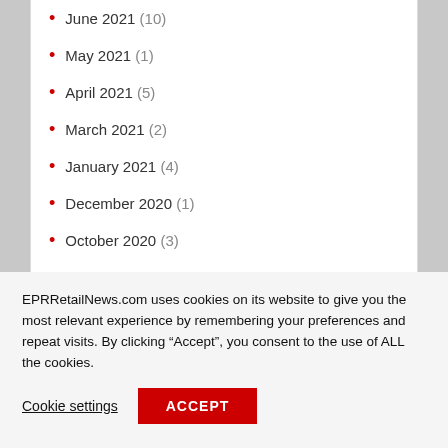June 2021 (10)
May 2021 (1)
April 2021 (5)
March 2021 (2)
January 2021 (4)
December 2020 (1)
October 2020 (3)
September 2020 (2)
EPRRetailNews.com uses cookies on its website to give you the most relevant experience by remembering your preferences and repeat visits. By clicking “Accept”, you consent to the use of ALL the cookies.
Cookie settings  ACCEPT